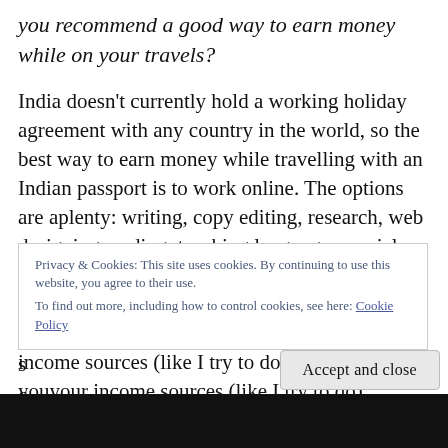you recommend a good way to earn money while on your travels?
India doesn't currently hold a working holiday agreement with any country in the world, so the best way to earn money while travelling with an Indian passport is to work online. The options are aplenty: writing, copy editing, research, web designing, coding, teaching languages, social media marketing – really anything that you don't have to be physically present in an office for. Becoming a freelancer and diversifying your income sources (like I try to do) ensures that you
Privacy & Cookies: This site uses cookies. By continuing to use this website, you agree to their use.
To find out more, including how to control cookies, see here: Cookie Policy
Accept and close